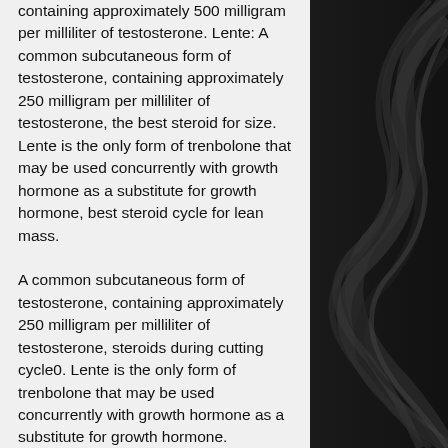containing approximately 500 milligram per milliliter of testosterone. Lente: A common subcutaneous form of testosterone, containing approximately 250 milligram per milliliter of testosterone, the best steroid for size. Lente is the only form of trenbolone that may be used concurrently with growth hormone as a substitute for growth hormone, best steroid cycle for lean mass.
A common subcutaneous form of testosterone, containing approximately 250 milligram per milliliter of testosterone, steroids during cutting cycle0. Lente is the only form of trenbolone that may be used concurrently with growth hormone as a substitute for growth hormone. Estradiol: The "competing" female form of trenbolone, containing approximately 400 milligram per milliliter of testosterone.